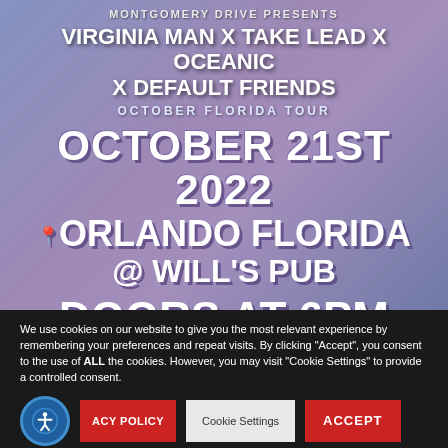[Figure (illustration): Concert event poster with purple/blue gradient background showing a silhouetted figure. Text overlay announces Montgomery Drive presents Virginia Man x Take Lead x Oceanic x Default Friends, October Florida Tour, October 21st 2022, Orlando Florida @ Will's Pub, Doors at 6PM.]
We use cookies on our website to give you the most relevant experience by remembering your preferences and repeat visits. By clicking “Accept”, you consent to the use of ALL the cookies. However, you may visit “Cookie Settings” to provide a controlled consent.
ACY POLICY | Cookie Settings | ACCEPT